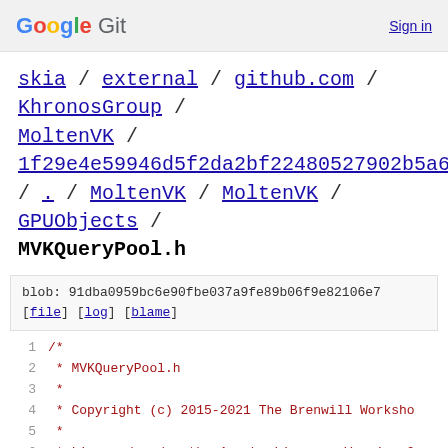Google Git  Sign in
skia / external / github.com / KhronosGroup / MoltenVK / 1f29e4e59946d5f2da2bf22480527902b5a66740 / . / MoltenVK / MoltenVK / GPUObjects / MVKQueryPool.h
blob: 91dba0959bc6e90fbe037a9fe89b06f9e82106e7
[file] [log] [blame]
1  /*
2   * MVKQueryPool.h
3   *
4   * Copyright (c) 2015-2021 The Brenwill Worksho
5   *
6   * Licensed under the Apache License, Version 2
7   * you may not use this file except in complian